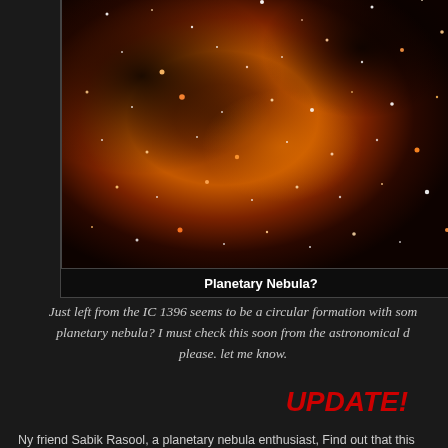[Figure (photo): Astronomical photo of a nebula region — IC 1396 area with deep red-orange star field against dark clouds, showing dense star clusters and dark nebula structures.]
Planetary Nebula?
Just left from the IC 1396 seems to be a circular formation with some planetary nebula? I must check this soon from the astronomical d... please. let me know.
UPDATE!
Ny friend Sabik Rasool, a planetary nebula enthusiast, Find out that this formation is rule out, that this could be an ancient planetary nebula though.
An experimental starless ver
Please, click for a full size photo
[Figure (photo): Bottom portion of another nebula photograph, partially visible at the bottom of the page.]